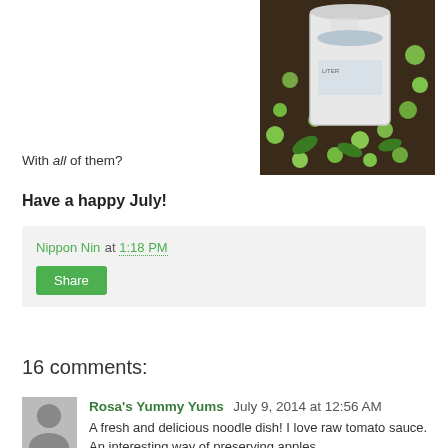[Figure (photo): A white plastic bucket sitting on dark soil surrounded by many small green apples and leaves]
With all of them?
Have a happy July!
Nippon Nin at 1:18 PM
Share
16 comments:
Rosa's Yummy Yums July 9, 2014 at 12:56 AM
A fresh and delicious noodle dish! I love raw tomato sauce. An interesting way of preserving apples.